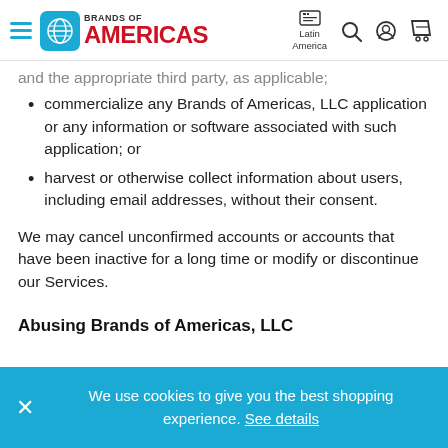Brands of Americas — Latin America navigation header
and the appropriate third party, as applicable;
commercialize any Brands of Americas, LLC application or any information or software associated with such application; or
harvest or otherwise collect information about users, including email addresses, without their consent.
We may cancel unconfirmed accounts or accounts that have been inactive for a long time or modify or discontinue our Services.
Abusing Brands of Americas, LLC
We use cookies to give you the best shopping experience. See details